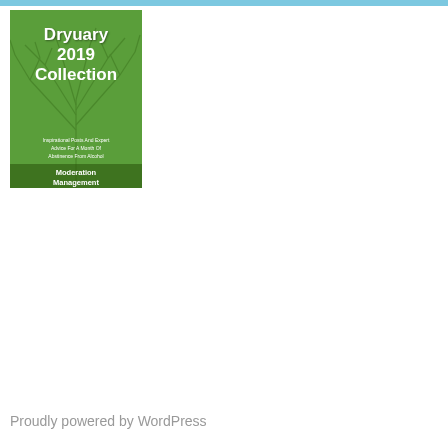[Figure (illustration): Book cover for 'Dryuary 2019 Collection' — green background with tree branch illustration, white text reading 'Dryuary 2019 Collection', subtitle 'Inspirational Posts And Expert Advice For A Month Of Abstinence From Alcohol', publisher 'Moderation Management']
Proudly powered by WordPress